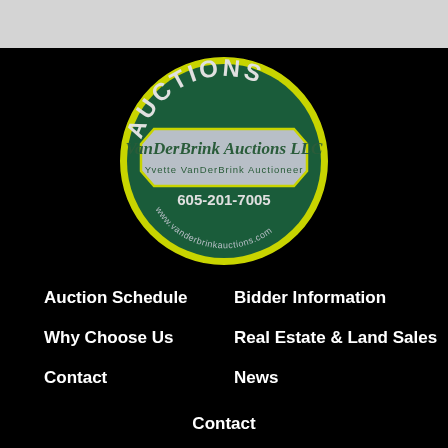[Figure (logo): VanDerBrink Auctions LLC logo — circular dark green badge with yellow border, 'AUCTIONS' text arched at top in white, silver banner across middle reading 'VanDerBrink Auctions LLC / Yvette VanDerBrink Auctioneer', phone number '605-201-7005' and website 'www.vanderbrinkauctions.com' at bottom]
Auction Schedule
Bidder Information
Why Choose Us
Real Estate & Land Sales
Contact
News
Contact